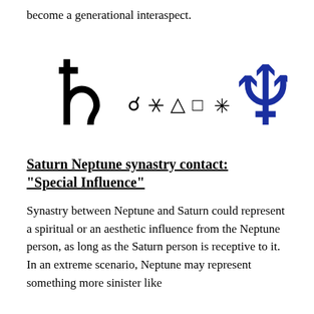become a generational interaspect.
[Figure (illustration): Astrological symbols: Saturn symbol (large, black) on the left, aspect symbols (conjunction, sextile, trine, square, quincunx) in the middle, and Neptune symbol (large, dark blue) on the right.]
Saturn Neptune synastry contact: “Special Influence”
Synastry between Neptune and Saturn could represent a spiritual or an aesthetic influence from the Neptune person, as long as the Saturn person is receptive to it.  In an extreme scenario, Neptune may represent something more sinister like deceptive or influence of a deeply destructive